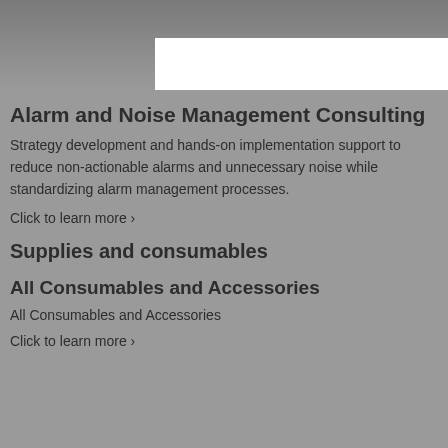[Figure (photo): Photo of medical staff in background, with white overlay box]
Alarm and Noise Management Consulting
Strategy development and hands-on implementation support to reduce non-actionable alarms and unnecessary noise while standardizing alarm management processes.
Click to learn more ›
Supplies and consumables
All Consumables and Accessories
All Consumables and Accessories
Click to learn more ›